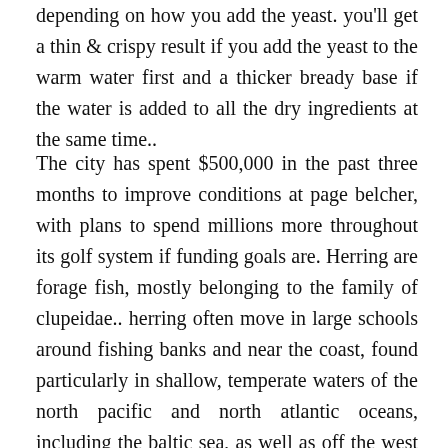depending on how you add the yeast. you'll get a thin & crispy result if you add the yeast to the warm water first and a thicker bready base if the water is added to all the dry ingredients at the same time..
The city has spent $500,000 in the past three months to improve conditions at page belcher, with plans to spend millions more throughout its golf system if funding goals are. Herring are forage fish, mostly belonging to the family of clupeidae.. herring often move in large schools around fishing banks and near the coast, found particularly in shallow, temperate waters of the north pacific and north atlantic oceans, including the baltic sea, as well as off the west coast of south america.three species of clupea (the type genus of the herring family clupeidae) are. Discover the latest nba news and videos from our experts on yahoo